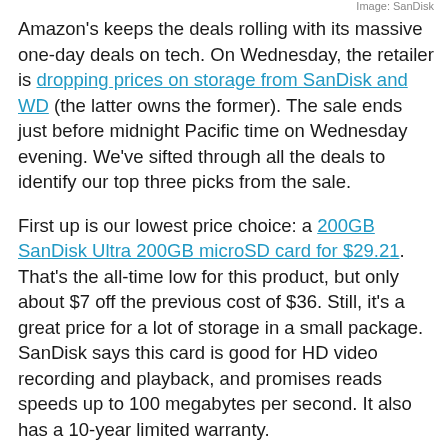Image: SanDisk
Amazon's keeps the deals rolling with its massive one-day deals on tech. On Wednesday, the retailer is dropping prices on storage from SanDisk and WD (the latter owns the former). The sale ends just before midnight Pacific time on Wednesday evening. We've sifted through all the deals to identify our top three picks from the sale.
First up is our lowest price choice: a 200GB SanDisk Ultra 200GB microSD card for $29.21. That's the all-time low for this product, but only about $7 off the previous cost of $36. Still, it's a great price for a lot of storage in a small package. SanDisk says this card is good for HD video recording and playback, and promises reads speeds up to 100 megabytes per second. It also has a 10-year limited warranty.